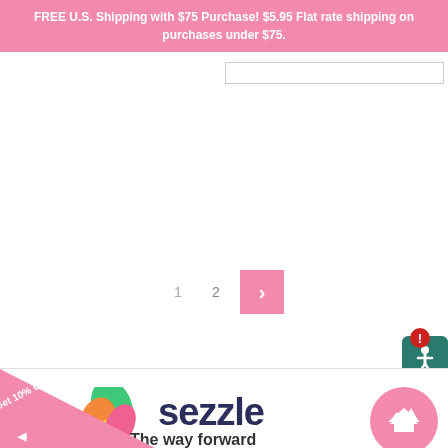FREE U.S. Shipping with $75 Purchase! $5.95 Flat rate shipping on purchases under $75.
[Figure (screenshot): Search bar/input field at top right]
[Figure (infographic): Pagination controls showing page 1, 2, and next arrow button in pink]
[Figure (logo): Sezzle logo with colorful leaf icon and tagline 'The way forward']
[Figure (infographic): Get 10% Off promotional triangle banner at bottom left]
[Figure (infographic): Accessibility widget with exclamation and person icon at right]